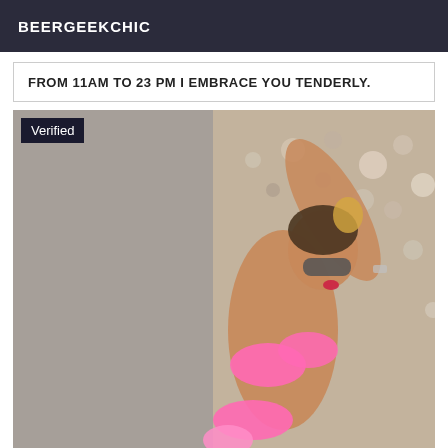BEERGEEKCHIC
FROM 11AM TO 23 PM I EMBRACE YOU TENDERLY.
[Figure (photo): Woman in pink bikini posing against a rocky pebble beach surface, wearing sunglasses, with a 'Verified' badge overlay in the top-left corner.]